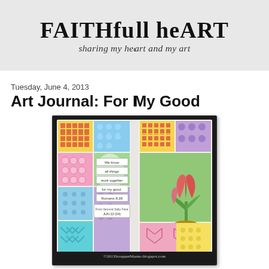FAITHfull heART
sharing my heart and my art
Tuesday, June 4, 2013
Art Journal: For My Good
[Figure (photo): Art journal spread with colorful patchwork background patterns (checkers, dots, honeycomb, chevrons) in pink, yellow, blue, green, purple. Left page has stacked label strips reading: 'We know', 'all things', 'work together', 'for my good.', 'Romans 8:28', 'From Second Salty Face', 'Jun 22 (?)'. Right page features a painted tulip flower in a pot. Bottom watermark reads: ©2013ScrapperMamo.blogspot.com]